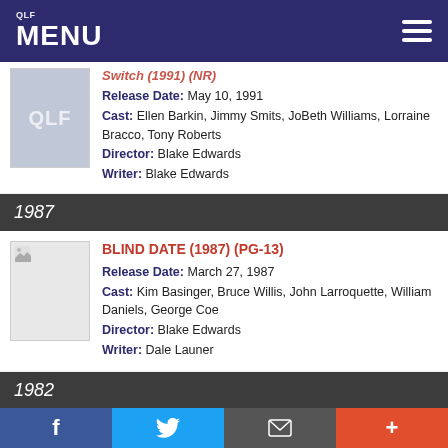QLF MENU
Switch (1991) (NR)
Release Date: May 10, 1991
Cast: Ellen Barkin, Jimmy Smits, JoBeth Williams, Lorraine Bracco, Tony Roberts
Director: Blake Edwards
Writer: Blake Edwards
1987
BLIND DATE (1987) (PG-13)
Release Date: March 27, 1987
Cast: Kim Basinger, Bruce Willis, John Larroquette, William Daniels, George Coe
Director: Blake Edwards
Writer: Dale Launer
1982
VICTOR VICTORIA (PG)
Release Date: January 1, 1982
Cast: Julie Andrews, James Garner, Robert Preston
f  Twitter  Email  +